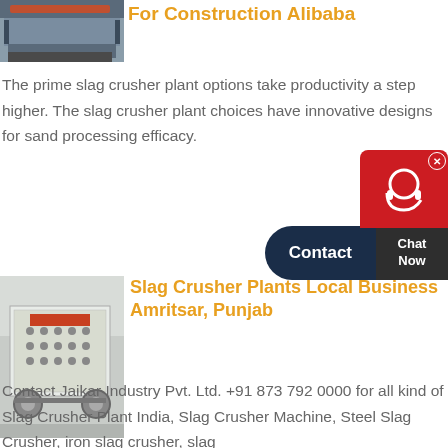[Figure (photo): Industrial crusher/conveyor machine photo at top left]
For Construction Alibaba
The prime slag crusher plant options take productivity a step higher. The slag crusher plant choices have innovative designs for sand processing efficacy.
[Figure (other): Chat widget with Contact button and Chat Now box, with support icon bubble]
[Figure (photo): Slag crusher plant machine photo, white industrial equipment in factory]
Slag Crusher Plants Local Business Amritsar, Punjab
Contact Jaikar Industry Pvt. Ltd. +91 873 792 0000 for all kind of Slag Crusher Plant India, Slag Crusher Machine, Steel Slag Crusher, iron slag crusher, slag